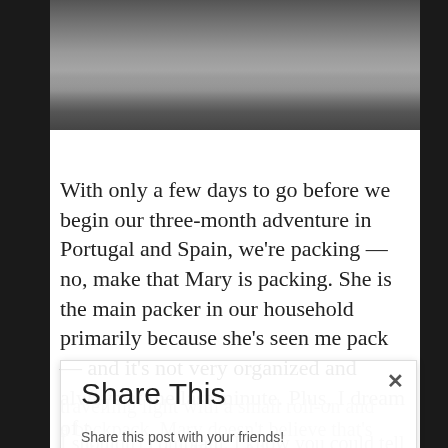[Figure (photo): Photo of people with luggage/suitcases on a sidewalk or pavement, partially cropped]
With only a few days to go before we begin our three-month adventure in Portugal and Spain, we're packing — no, make that Mary is packing. She is the main packer in our household primarily because she's seen me pack — and it's not very organized and always at the last minute. Plus, I dream of travelling light with a small roll-on and a backpack. Mary doesn't believe that's realistic, especially on this journey.
Share This
Share this post with your friends!
I shouldn't complain. I know you could tell I